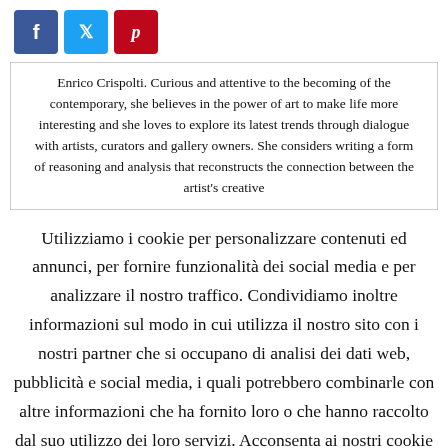[Figure (other): Social media share buttons: Facebook (blue), Twitter (light blue), Pinterest (red)]
Enrico Crispolti. Curious and attentive to the becoming of the contemporary, she believes in the power of art to make life more interesting and she loves to explore its latest trends through dialogue with artists, curators and gallery owners. She considers writing a form of reasoning and analysis that reconstructs the connection between the artist's creative
Utilizziamo i cookie per personalizzare contenuti ed annunci, per fornire funzionalità dei social media e per analizzare il nostro traffico. Condividiamo inoltre informazioni sul modo in cui utilizza il nostro sito con i nostri partner che si occupano di analisi dei dati web, pubblicità e social media, i quali potrebbero combinarle con altre informazioni che ha fornito loro o che hanno raccolto dal suo utilizzo dei loro servizi. Acconsenta ai nostri cookie se continua ad utilizzare il nostro sito web. Accetta
Rifiuta Leggi